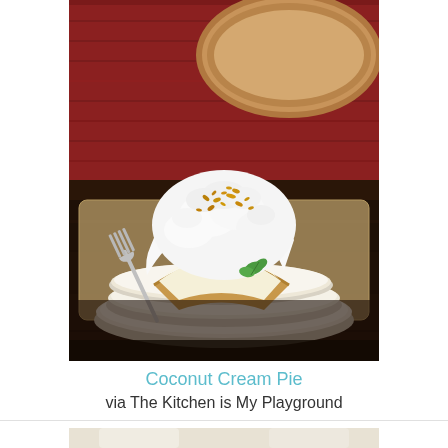[Figure (photo): A slice of coconut cream pie with tall white meringue topping and toasted coconut flakes, served on a white plate with a fork and a sprig of mint. In the background is a full coconut cream pie in a glass dish, on a dark wood surface with a red cloth napkin.]
Coconut Cream Pie
via The Kitchen is My Playground
[Figure (photo): Bottom portion of another food photo, partially visible, showing light-colored food items on a pale background.]